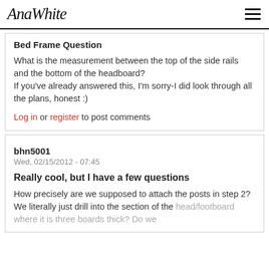AnaWhite
Bed Frame Question
What is the measurement between the top of the side rails and the bottom of the headboard? If you've already answered this, I'm sorry-I did look through all the plans, honest :)
Log in or register to post comments
bhn5001
Wed, 02/15/2012 - 07:45
Really cool, but I have a few questions
How precisely are we supposed to attach the posts in step 2? We literally just drill into the section of the head/footboard where it is three boards thick? Do we